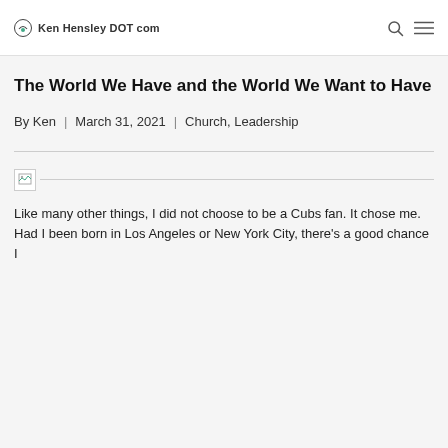Ken Hensley DOT com
The World We Have and the World We Want to Have
By Ken | March 31, 2021 | Church, Leadership
[Figure (illustration): Broken image placeholder with horizontal line extending to the right]
Like many other things, I did not choose to be a Cubs fan. It chose me. Had I been born in Los Angeles or New York City, there's a good chance I